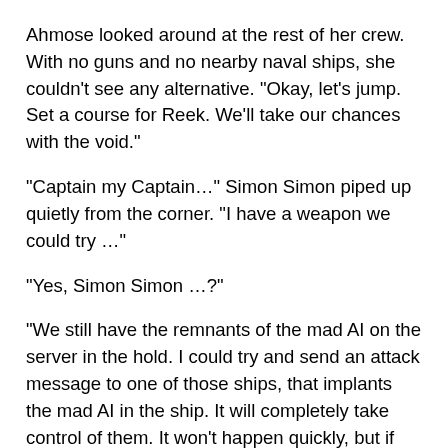Ahmose looked around at the rest of her crew. With no guns and no nearby naval ships, she couldn’t see any alternative. “Okay, let’s jump. Set a course for Reek. We’ll take our chances with the void.”
“Captain my Captain…” Simon Simon piped up quietly from the corner. “I have a weapon we could try …”
“Yes, Simon Simon …?”
“We still have the remnants of the mad AI on the server in the hold. I could try and send an attack message to one of those ships, that implants the mad AI in the ship. It will completely take control of them. It won’t happen quickly, but if we come back here in two weeks the ship will probably be completely mad, and everyone will be trapped on board. We could board it and find out what they wanted